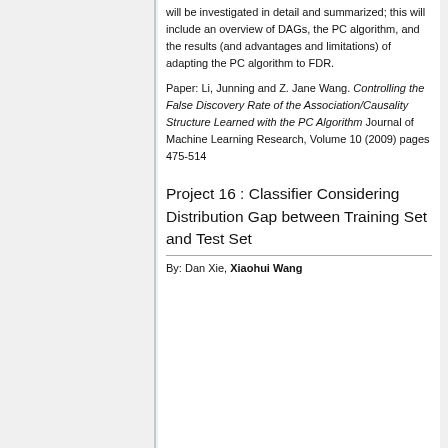will be investigated in detail and summarized; this will include an overview of DAGs, the PC algorithm, and the results (and advantages and limitations) of adapting the PC algorithm to FDR.
Paper: Li, Junning and Z. Jane Wang. Controlling the False Discovery Rate of the Association/Causality Structure Learned with the PC Algorithm Journal of Machine Learning Research, Volume 10 (2009) pages 475-514
Project 16 : Classifier Considering Distribution Gap between Training Set and Test Set
By: Dan Xie, Xiaohui Wang